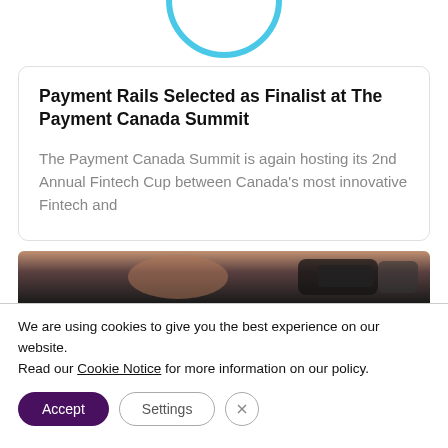[Figure (logo): Partial blue circular badge/seal with '2017' text visible at top of page]
Payment Rails Selected as Finalist at The Payment Canada Summit
The Payment Canada Summit is again hosting its 2nd Annual Fintech Cup between Canada's most innovative Fintech and
[Figure (photo): Partial photo showing a dark background with what appears to be a person and dark equipment/objects]
We are using cookies to give you the best experience on our website.
Read our Cookie Notice for more information on our policy.